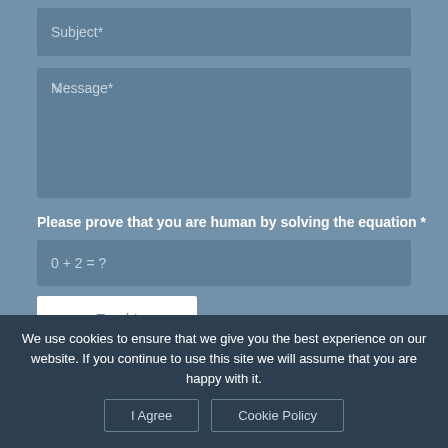Subject*
Message*
Please prove that you are human by solving the equation *
0 + 2 = ?
Touch!
We use cookies to ensure that we give you the best experience on our website. If you continue to use this site we will assume that you are happy with it.
I Agree
Cookie Policy